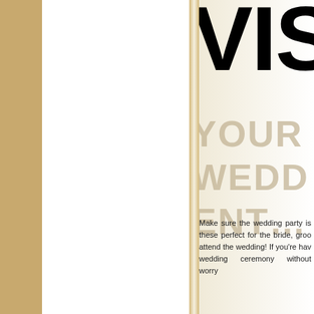VISU
Make sure the wedding party is these perfect for the bride, groo attend the wedding! If you're hav wedding ceremony without worry